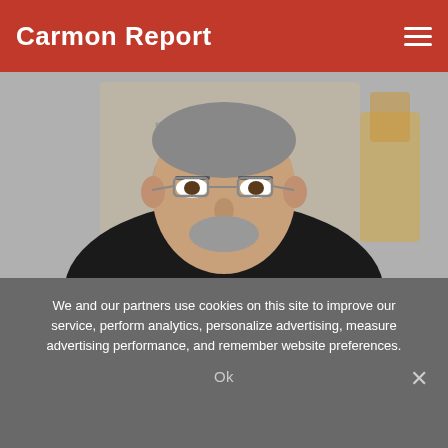Carmon Report
[Figure (photo): Photo of Salman Rushdie at National Book Awards, wearing a dark jacket, standing in front of a backdrop with 'National Book Awards' text]
Salman Rushdie book sales soar after knife attack
We and our partners use cookies on this site to improve our service, perform analytics, personalize advertising, measure advertising performance, and remember website preferences.
Ok